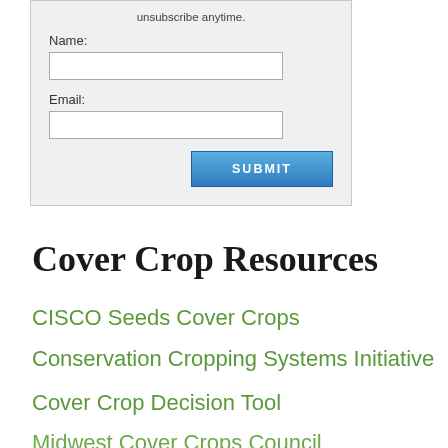unsubscribe anytime.
Name:
Email:
SUBMIT
Cover Crop Resources
CISCO Seeds Cover Crops
Conservation Cropping Systems Initiative
Cover Crop Decision Tool
Midwest Cover Crops Council